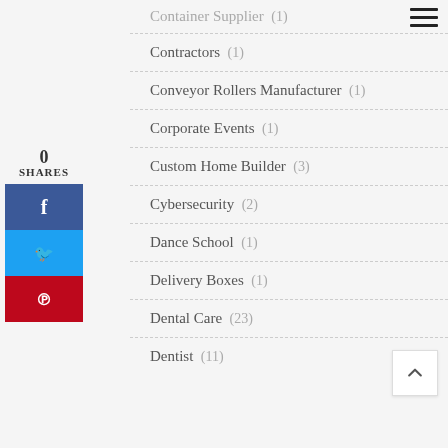Container Supplier (1)
Contractors (1)
Conveyor Rollers Manufacturer (1)
Corporate Events (1)
Custom Home Builder (3)
Cybersecurity (2)
Dance School (1)
Delivery Boxes (1)
Dental Care (23)
Dentist (11)